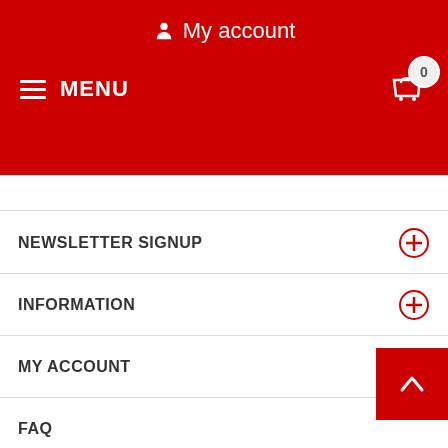My account
MENU
NEWSLETTER SIGNUP
INFORMATION
MY ACCOUNT
FAQ